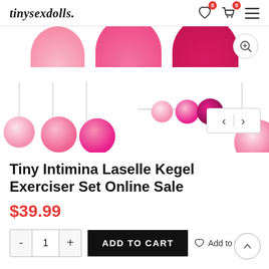tinysexdolls.
[Figure (photo): Product images of Tiny Intimina Laselle Kegel Exerciser Set showing pink kegel balls of various sizes on white background, with zoom and navigation arrow controls]
Tiny Intimina Laselle Kegel Exerciser Set Online Sale
$39.99
- 1 + ADD TO CART Add to wishlist